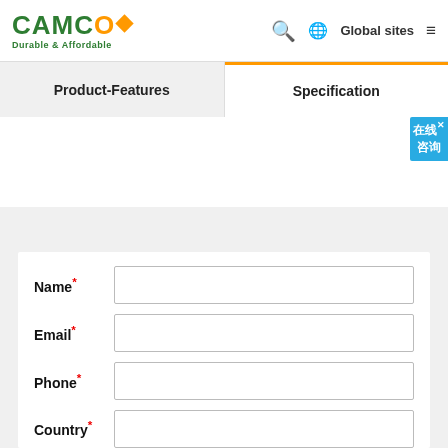CAMCO Durable & Affordable — Global sites
Product-Features
Specification
在线咨询
Name* (input field)
Email* (input field)
Phone* (input field)
Country* (input field)